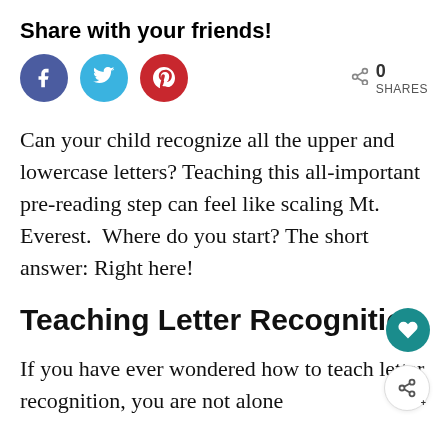Share with your friends!
[Figure (infographic): Social share buttons: Facebook (blue circle with f), Twitter (cyan circle with bird icon), Pinterest (red circle with p). Right side shows share icon with 0 SHARES.]
Can your child recognize all the upper and lowercase letters? Teaching this all-important pre-reading step can feel like scaling Mt. Everest.  Where do you start? The short answer: Right here!
Teaching Letter Recognition
If you have ever wondered how to teach letter recognition, you are not alone